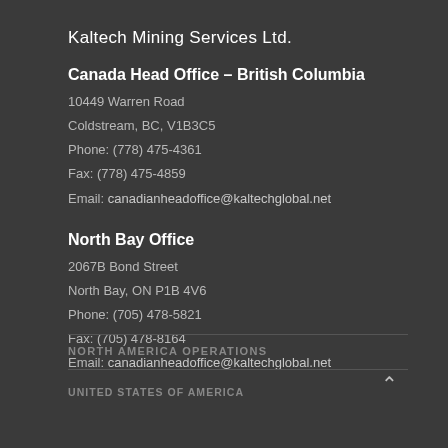Kaltech Mining Services Ltd.
Canada Head Office – British Columbia
10449 Warren Road
Coldstream, BC, V1B3C5
Phone: (778) 475-4361
Fax: (778) 475-4859
Email: canadianheadoffice@kaltechglobal.net
North Bay Office
2067B Bond Street
North Bay, ON P1B 4V6
Phone: (705) 478-5821
Fax: (705) 478-8164
Email: canadianheadoffice@kaltechglobal.net
NORTH AMERICA OPERATIONS
UNITED STATES of AMERICA